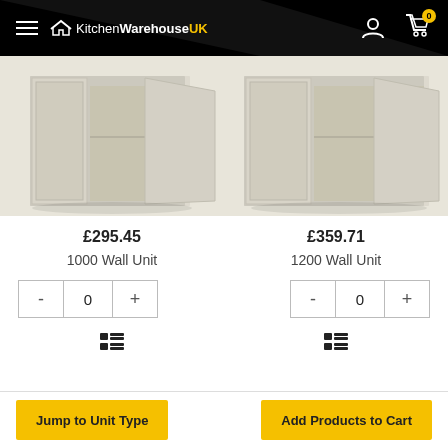KitchenWarehouseUK — navigation header with hamburger menu, logo, user icon, and cart icon (0 items)
[Figure (photo): Photo of a cream/off-white 1000 Wall Unit cabinet with open door showing interior shelf]
£295.45
1000 Wall Unit
[Figure (photo): Photo of a cream/off-white 1200 Wall Unit cabinet with open door showing interior shelf]
£359.71
1200 Wall Unit
- 0 +
- 0 +
Jump to Unit Type | Add Products to Cart